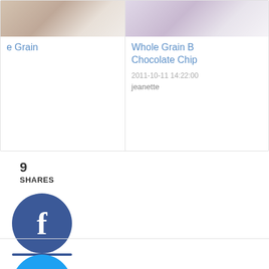[Figure (photo): Partial food blog card on the left showing a partial image of food on a plate with partial title 'e Grain']
[Figure (photo): Food blog card on the right showing a partial image with title 'Whole Grain B... Chocolate Chip...', date '2011-10-11 14:22:00', author 'jeanette']
9
SHARES
[Figure (infographic): Facebook share button - dark blue circle with white F icon]
[Figure (infographic): Twitter share button - light blue circle with white bird icon]
[Figure (infographic): Pinterest share button - red circle with white P icon and number 9]
[Figure (infographic): Yummly share button - orange circle with white 'yum' text]